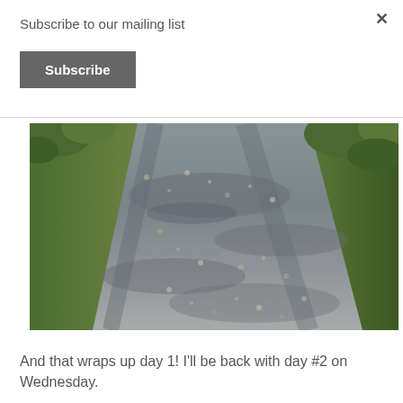Subscribe to our mailing list
Subscribe
[Figure (photo): A gravel road or path viewed from above at an angle, with green grass and vegetation on either side. The road surface shows tire tracks and consists of grey and beige gravel/stones with dappled shadows.]
And that wraps up day 1! I'll be back with day #2 on Wednesday.